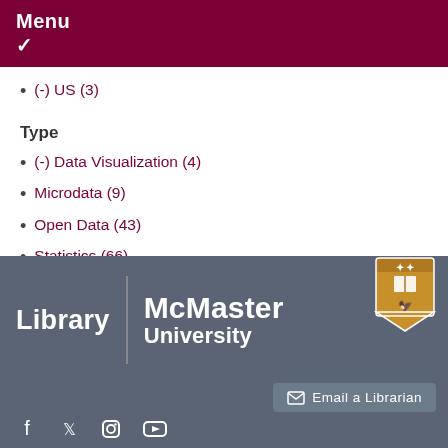Menu ✓
(-) US (3)
Type
(-) Data Visualization (4)
Microdata (9)
Open Data (43)
Statistics (66)
[Figure (logo): McMaster University Library footer logo with crest, email a librarian button, and social media icons]